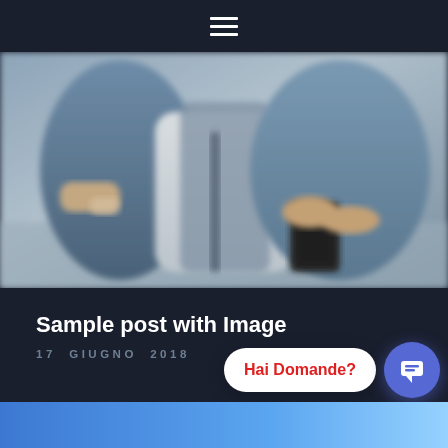☰ (hamburger menu icon)
[Figure (photo): Blurred photo of two people standing outdoors, one holding a smartphone. Both wearing casual clothes in blue/grey tones.]
Sample post with Image
17 GIUGNO 2018
[Figure (screenshot): Chat widget with speech bubble saying 'Hai Domande?' in red text, and a blue circular chat button with a message icon.]
[Figure (photo): Partial view of next card/post with blue gradient background at the bottom of the page.]